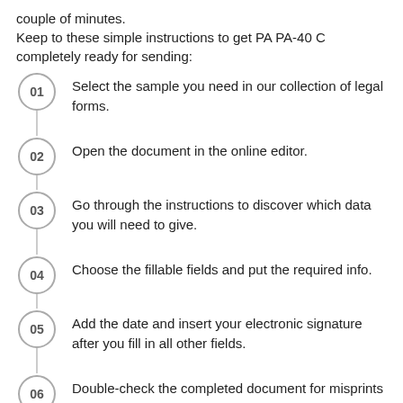couple of minutes.
Keep to these simple instructions to get PA PA-40 C completely ready for sending:
01 — Select the sample you need in our collection of legal forms.
02 — Open the document in the online editor.
03 — Go through the instructions to discover which data you will need to give.
04 — Choose the fillable fields and put the required info.
05 — Add the date and insert your electronic signature after you fill in all other fields.
06 — Double-check the completed document for misprints as well as other errors. If you need to change something, our online editor and its wide range of instruments are ready for your use.